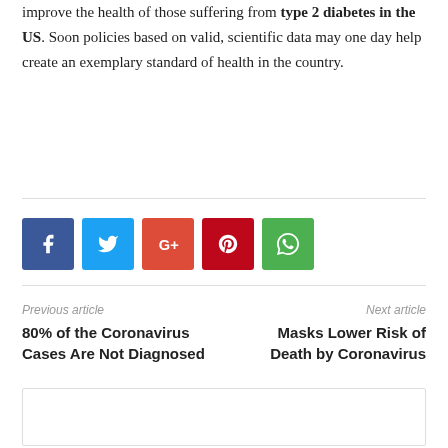improve the health of those suffering from type 2 diabetes in the US. Soon policies based on valid, scientific data may one day help create an exemplary standard of health in the country.
[Figure (other): Social sharing buttons: Facebook (blue), Twitter (light blue), Google+ (red-orange), Pinterest (red), WhatsApp (green)]
Previous article
Next article
80% of the Coronavirus Cases Are Not Diagnosed
Masks Lower Risk of Death by Coronavirus